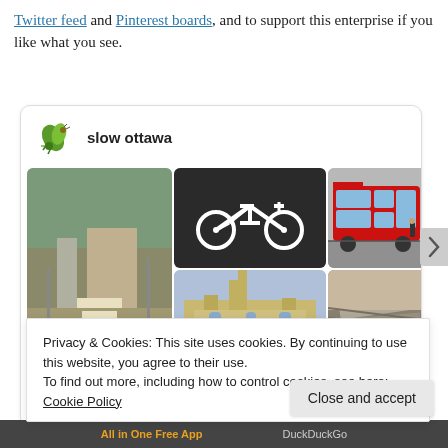Twitter feed and Pinterest boards, and to support this enterprise if you like what you see.
[Figure (screenshot): Pinterest-style card showing 'slow ottawa' with a logo icon and a photo grid of 5 urban/transport images including streets, a bicycle symbol, a red double-decker bus, a cathedral, and a park waterway.]
Privacy & Cookies: This site uses cookies. By continuing to use this website, you agree to their use.
To find out more, including how to control cookies, see here: Cookie Policy
Close and accept